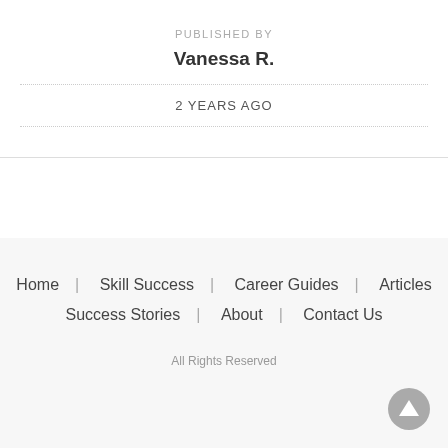PUBLISHED BY
Vanessa R.
2 YEARS AGO
Home   Skill Success   Career Guides   Articles   Success Stories   About   Contact Us
All Rights Reserved